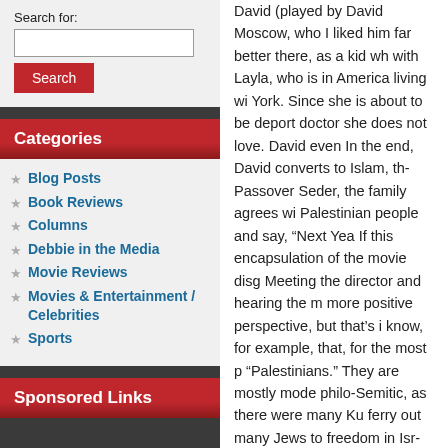Search for:
Search
Categories
Blog Posts
Book Reviews
Columns
Debbie in the Media
Movie Reviews
Movies & Entertainment / Celebrities
Sports
Sponsored Links
David (played by David Moscow, who I liked him far better there, as a kid who with Layla, who is in America living wi York. Since she is about to be deporte doctor she does not love. David even In the end, David converts to Islam, th Passover Seder, the family agrees wi Palestinian people and say, “Next Yea If this encapsulation of the movie disg Meeting the director and hearing the m more positive perspective, but that’s i know, for example, that, for the most p “Palestinians.” They are mostly mode philo-Semitic, as there were many Ku ferry out many Jews to freedom in Isr controlled Iran. And they identified wit (Though, some of that may have char of the anti-Semitic Al-Maliki Shia gove That they would suddenly dislike Jew When I asked Jay Jonroy about this, h no movie,” he told me. So, for drama Jay, you can do better. Jonroy said th Jewish and Kurdish friends of his in P graphically sex-obsessed (a common